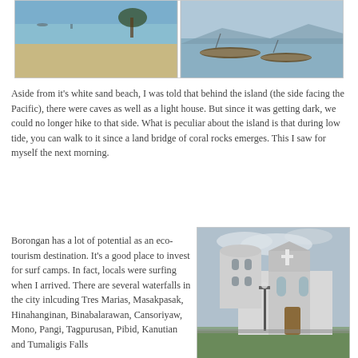[Figure (photo): Two side-by-side beach photos: left shows white sand beach with calm blue water and a tree; right shows boats moored near a calm lake or bay with mountains in background]
Aside from it's white sand beach, I was told that behind the island (the side facing the Pacific), there were caves as well as a light house. But since it was getting dark, we could no longer hike to that side. What is peculiar about the island is that during low tide, you can walk to it since a land bridge of coral rocks emerges. This I saw for myself the next morning.
Borongan has a lot of potential as an eco-tourism destination. It's a good place to invest for surf camps. In fact, locals were surfing when I arrived. There are several waterfalls in the city inlcuding Tres Marias, Masakpasak, Hinahanginan, Binabalarawan, Cansoriyaw, Mono, Pangi, Tagpurusan, Pibid, Kanutian and Tumaligis Falls
[Figure (photo): Photo of a white church building with a cylindrical tower on the left and a cross on the facade, set against a cloudy sky with trees and a lamp post in front]